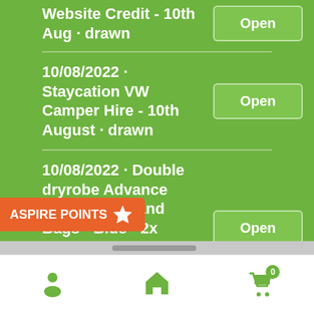Website Credit - 10th Aug · drawn
10/08/2022 · Staycation VW Camper Hire - 10th August · drawn
10/08/2022 · Double dryrobe Advance Long Sleeve and Bags - Blue - 2x Dryrobe longsleeves with 2x Bags - 10th August · drawn
[Figure (infographic): ASPIRE POINTS banner with star icon in orange]
[Figure (infographic): Bottom navigation bar with user icon, home icon, and shopping cart icon with badge showing 0]